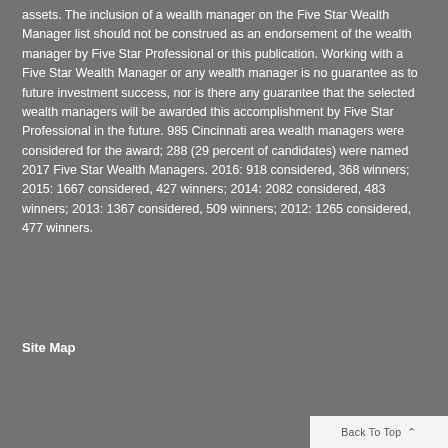assets. The inclusion of a wealth manager on the Five Star Wealth Manager list should not be construed as an endorsement of the wealth manager by Five Star Professional or this publication. Working with a Five Star Wealth Manager or any wealth manager is no guarantee as to future investment success, nor is there any guarantee that the selected wealth managers will be awarded this accomplishment by Five Star Professional in the future. 985 Cincinnati area wealth managers were considered for the award; 288 (29 percent of candidates) were named 2017 Five Star Wealth Managers. 2016: 918 considered, 368 winners; 2015: 1667 considered, 427 winners; 2014: 2082 considered, 483 winners; 2013: 1367 considered, 509 winners; 2012: 1265 considered, 477 winners.
Site Map
Back To Top